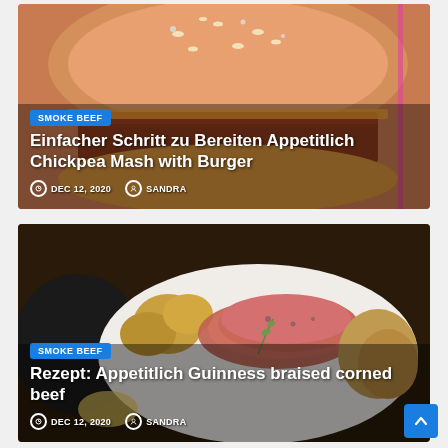[Figure (photo): Photo of a chickpea mash burger with sesame bun, close-up shot]
SMOKE BEEF
Einfacher Schritt zu Bereiten Appetitlich Chickpea Mash with Burger
DEC 12, 2020  SANDRA
[Figure (photo): Photo of Guinness braised corned beef with roasted potatoes and vegetables on a plate]
SMOKE BEEF
Rezept: Appetitlich Guinness braised corned beef
DEC 12, 2020  SANDRA